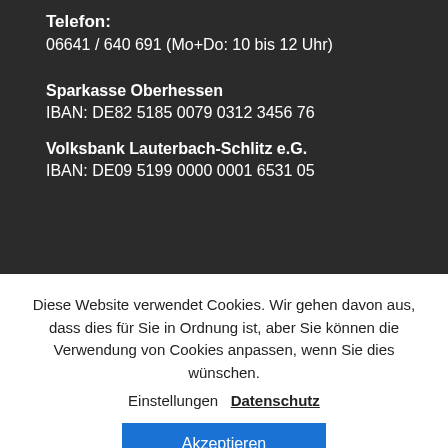Telefon:
06641 / 640 691 (Mo+Do: 10 bis 12 Uhr)
Sparkasse Oberhessen
IBAN: DE82 5185 0079 0312 3456 76
Volksbank Lauterbach-Schlitz e.G.
IBAN: DE09 5199 0000 0001 6531 05
Diese Website verwendet Cookies. Wir gehen davon aus, dass dies für Sie in Ordnung ist, aber Sie können die Verwendung von Cookies anpassen, wenn Sie dies wünschen.
Einstellungen  Datenschutz
Akzeptieren